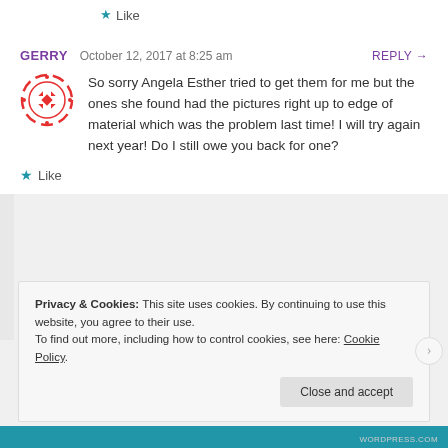★ Like
GERRY   October 12, 2017 at 8:25 am   REPLY →
[Figure (logo): Red circular logo with diamond/cross pattern in the center]
So sorry Angela Esther tried to get them for me but the ones she found had the pictures right up to edge of material which was the problem last time! I will try again next year! Do I still owe you back for one?
★ Like
Privacy & Cookies: This site uses cookies. By continuing to use this website, you agree to their use.
To find out more, including how to control cookies, see here: Cookie Policy
Close and accept